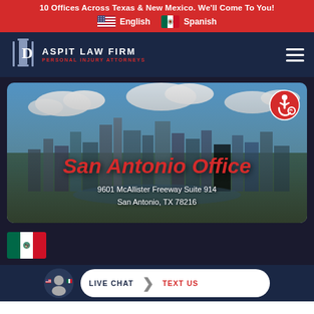10 Offices Across Texas & New Mexico. We'll Come To You!
English  Spanish
[Figure (logo): Daspit Law Firm Personal Injury Attorneys logo with column icon]
[Figure (photo): Aerial city skyline photo of San Antonio with clouds]
San Antonio Office
9601 McAllister Freeway Suite 914
San Antonio, TX 78216
[Figure (illustration): Mexican flag large]
LIVE CHAT  TEXT US